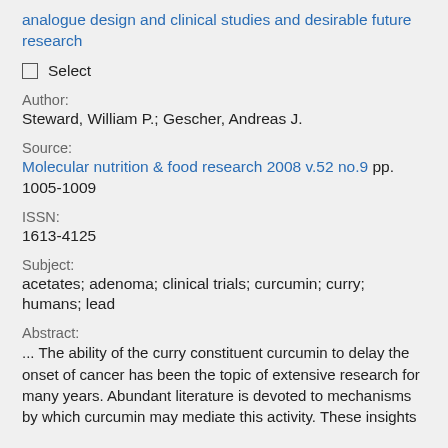analogue design and clinical studies and desirable future research
Select
Author:
Steward, William P.; Gescher, Andreas J.
Source:
Molecular nutrition & food research 2008 v.52 no.9 pp. 1005-1009
ISSN:
1613-4125
Subject:
acetates; adenoma; clinical trials; curcumin; curry; humans; lead
Abstract:
... The ability of the curry constituent curcumin to delay the onset of cancer has been the topic of extensive research for many years. Abundant literature is devoted to mechanisms by which curcumin may mediate this activity. These insights